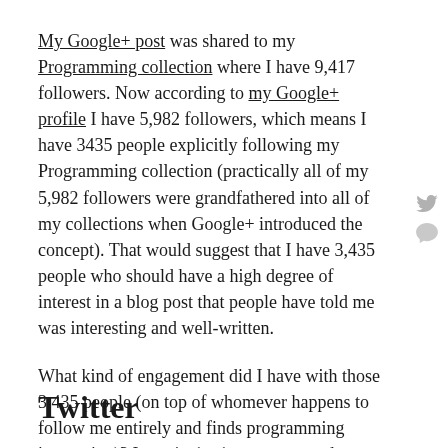My Google+ post was shared to my Programming collection where I have 9,417 followers. Now according to my Google+ profile I have 5,982 followers, which means I have 3435 people explicitly following my Programming collection (practically all of my 5,982 followers were grandfathered into all of my collections when Google+ introduced the concept). That would suggest that I have 3,435 people who should have a high degree of interest in a blog post that people have told me was interesting and well-written.
What kind of engagement did I have with those 3,435 people (on top of whomever happens to follow me entirely and finds programming interesting)? I got 4 +1s, 1 comment, and no reshares.
Twitter